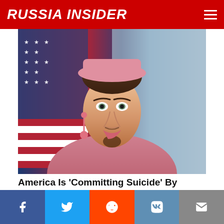RUSSIA INSIDER
[Figure (photo): Person in pink military-style uniform with pink hat and earrings, standing in front of an American flag. Appears to be a composite/satirical image.]
America Is 'Committing Suicide' By Allowing Trannies in the Military (Russian TV News)
Dmitry Kiselyov  59,953  Comments
[Figure (photo): Blonde woman outdoors with trees in background.]
Facebook  Twitter  Reddit  VK  Email